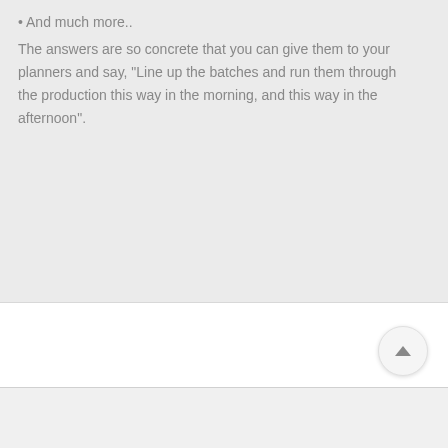• And much more..
The answers are so concrete that you can give them to your planners and say, "Line up the batches and run them through the production this way in the morning, and this way in the afternoon".